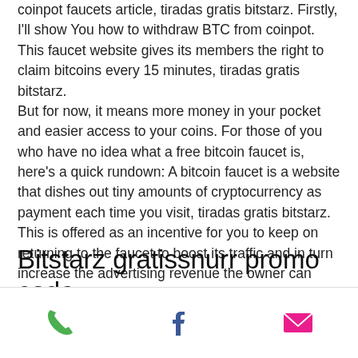coinpot faucets article, tiradas gratis bitstarz. Firstly, I'll show You how to withdraw BTC from coinpot. This faucet website gives its members the right to claim bitcoins every 15 minutes, tiradas gratis bitstarz. But for now, it means more money in your pocket and easier access to your coins. For those of you who have no idea what a free bitcoin faucet is, here's a quick rundown: A bitcoin faucet is a website that dishes out tiny amounts of cryptocurrency as payment each time you visit, tiradas gratis bitstarz. This is offered as an incentive for you to keep on returning to the faucet to boost its traffic and in turn increase the advertising revenue the owner can earn.
Bitstarz gratissnurr promo code
[Figure (other): Mobile bottom navigation bar with phone icon (green), Facebook icon (dark blue), and email/envelope icon (pink-red)]